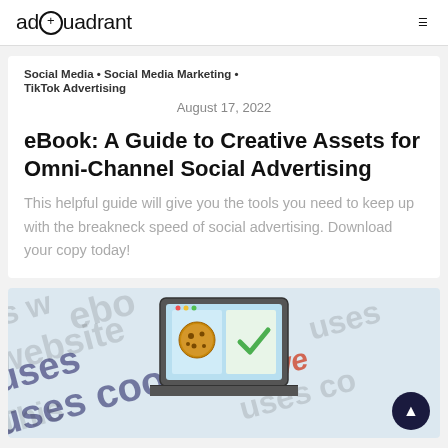adQuadrant
Social Media • Social Media Marketing • TikTok Advertising
August 17, 2022
eBook: A Guide to Creative Assets for Omni-Channel Social Advertising
This helpful guide will give you the tools you need to keep up with the breakneck speed of social advertising. Download your copy today!
[Figure (illustration): Cookie consent illustration: laptop showing a cookie icon and a checkmark on a blue screen background, surrounded by large repeating text 'This website uses cookies' in various colors. A dark circle scroll-to-top button is in the bottom right.]